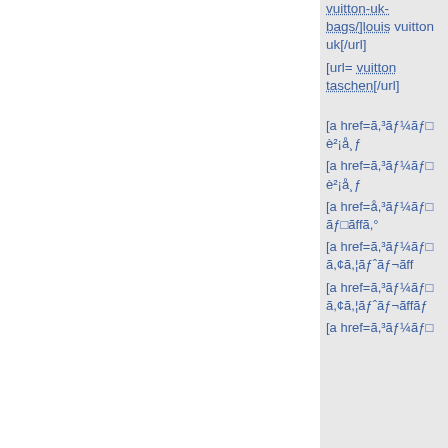vuitton-uk-bags/]louis vuitton uk[/url]
[url= vuitton taschen[/url]
[a href=ã,³ãƒ¼ãƒ è²¡å¸ƒ
[a href=ã,³ãƒ¼ãƒ è²¡å¸ƒ
[a href=å,³ãƒ¼ãƒ ãƒ□ãffã,°
[a href=ã,³ãƒ¼ãƒ ã,¢ã,¦ãƒˆãƒ¬ãff
[a href=ã,³ãƒ¼ãƒ ã,¢ã,¦ãƒˆãƒ¬ãffãƒ
[a href=ã,³ãƒ¼ãƒ